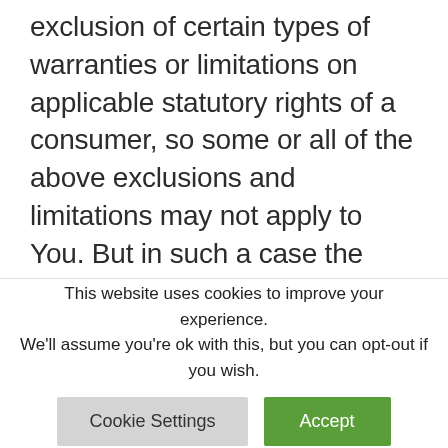exclusion of certain types of warranties or limitations on applicable statutory rights of a consumer, so some or all of the above exclusions and limitations may not apply to You. But in such a case the exclusions and limitations set forth in this section shall be applied to the greatest extent enforceable under applicable law.
Governing Law
This website uses cookies to improve your experience. We'll assume you're ok with this, but you can opt-out if you wish.